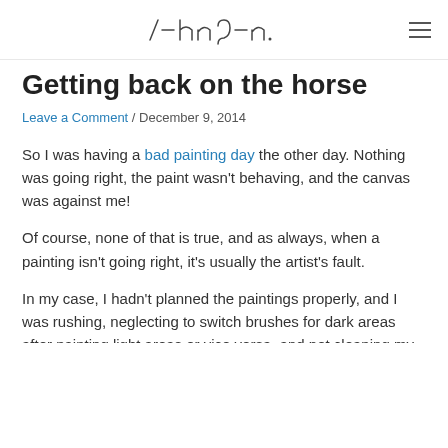[logo / handwritten text] ≡
Getting back on the horse
Leave a Comment / December 9, 2014
So I was having a bad painting day the other day. Nothing was going right, the paint wasn't behaving, and the canvas was against me!
Of course, none of that is true, and as always, when a painting isn't going right, it's usually the artist's fault.
In my case, I hadn't planned the paintings properly, and I was rushing, neglecting to switch brushes for dark areas after painting light areas or vice versa, and not cleaning my